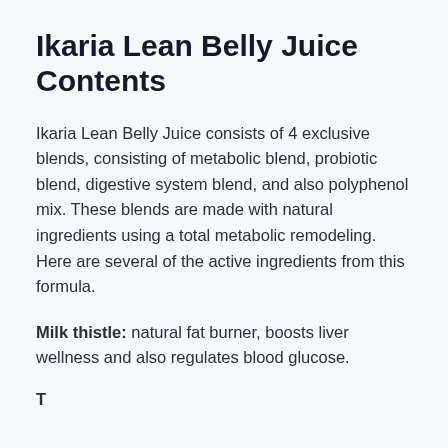Ikaria Lean Belly Juice Contents
Ikaria Lean Belly Juice consists of 4 exclusive blends, consisting of metabolic blend, probiotic blend, digestive system blend, and also polyphenol mix. These blends are made with natural ingredients using a total metabolic remodeling. Here are several of the active ingredients from this formula.
Milk thistle: natural fat burner, boosts liver wellness and also regulates blood glucose.
Taraxacum: assists fat burning...